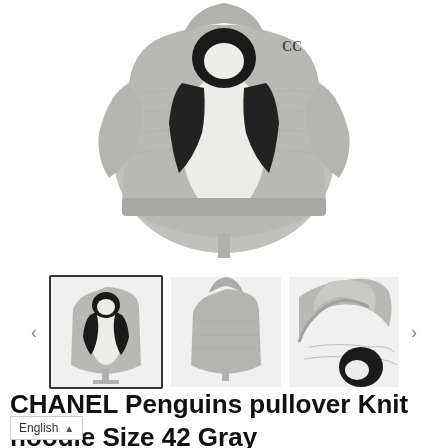[Figure (photo): Main product photo of CHANEL penguin knit hoodie pullover in gray, shown from back on a mannequin stand. The jacket is gray boucle with a large white and black penguin graphic on the back.]
[Figure (photo): Three thumbnail images of the same CHANEL penguin knit hoodie: front view showing penguin graphic, back view showing hood, and close-up of hood/detail. Navigation arrows on left and right.]
CHANEL Penguins pullover Knit hoodie Size 42 Gray P31741K00634 Silk65%